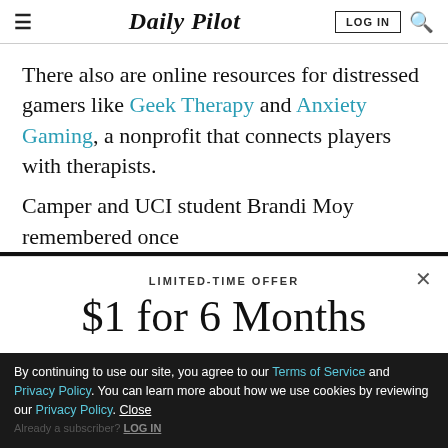Daily Pilot
There also are online resources for distressed gamers like Geek Therapy and Anxiety Gaming, a nonprofit that connects players with therapists.
Camper and UCI student Brandi Moy remembered once
LIMITED-TIME OFFER
$1 for 6 Months
SUBSCRIBE NOW
By continuing to use our site, you agree to our Terms of Service and Privacy Policy. You can learn more about how we use cookies by reviewing our Privacy Policy. Close
Already a subscriber? LOG IN